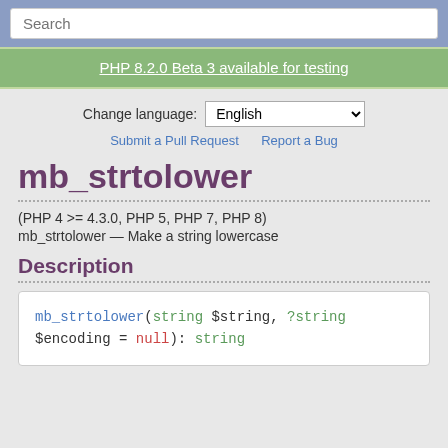Search
PHP 8.2.0 Beta 3 available for testing
Change language: English
Submit a Pull Request   Report a Bug
mb_strtolower
(PHP 4 >= 4.3.0, PHP 5, PHP 7, PHP 8)
mb_strtolower — Make a string lowercase
Description